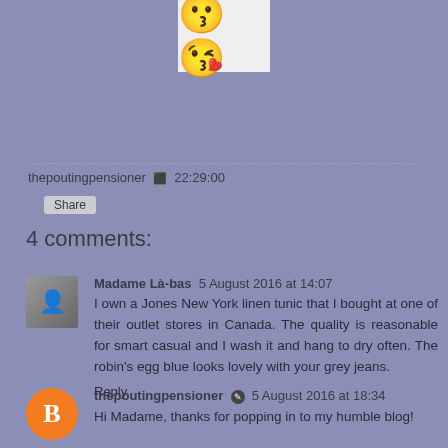[Figure (illustration): Partial view of two yellow smiley face emoji kissing, cropped at top]
thepoutingpensioner  22:29:00
Share
4 comments:
Madame Là-bas 5 August 2016 at 14:07
I own a Jones New York linen tunic that I bought at one of their outlet stores in Canada. The quality is reasonable for smart casual and I wash it and hang to dry often. The robin's egg blue looks lovely with your grey jeans.
Reply
thepoutingpensioner  5 August 2016 at 18:34
Hi Madame, thanks for popping in to my humble blog!